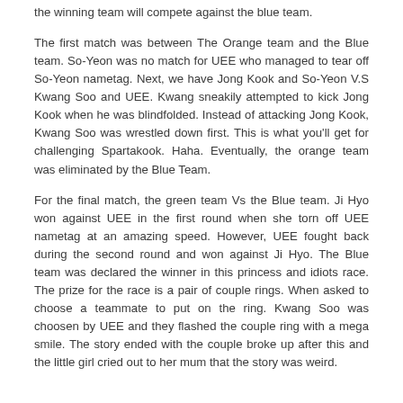the winning team will compete against the blue team.
The first match was between The Orange team and the Blue team. So-Yeon was no match for UEE who managed to tear off So-Yeon nametag. Next, we have Jong Kook and So-Yeon V.S Kwang Soo and UEE. Kwang sneakily attempted to kick Jong Kook when he was blindfolded. Instead of attacking Jong Kook, Kwang Soo was wrestled down first. This is what you'll get for challenging Spartakook. Haha. Eventually, the orange team was eliminated by the Blue Team.
For the final match, the green team Vs the Blue team. Ji Hyo won against UEE in the first round when she torn off UEE nametag at an amazing speed. However, UEE fought back during the second round and won against Ji Hyo. The Blue team was declared the winner in this princess and idiots race. The prize for the race is a pair of couple rings. When asked to choose a teammate to put on the ring. Kwang Soo was choosen by UEE and they flashed the couple ring with a mega smile. The story ended with the couple broke up after this and the little girl cried out to her mum that the story was weird.